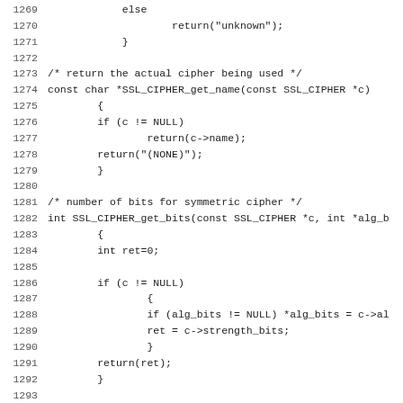Code listing lines 1269-1301, C source code for SSL cipher functions including SSL_CIPHER_get_name, SSL_CIPHER_get_bits, and ssl3_comp_find